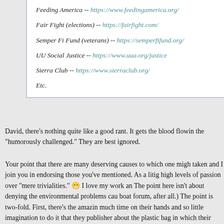Feeding America -- https://www.feedingamerica.org/
Fair Fight (elections) -- https://fairfight.com/
Semper Fi Fund (veterans) -- https://semperfifund.org/
UU Social Justice -- https://www.uua.org/justice
Sierra Club -- https://www.sierraclub.org/
Etc.
David, there's nothing quite like a good rant. It gets the blood flowin the "humorously challenged." They are best ignored.
Your point that there are many deserving causes to which one migh taken and I join you in endorsing those you've mentioned. As a litig high levels of passion over "mere trivialities." 😁 I love my work an The point here isn't about denying the environmental problems cau boat forum, after all.) The point is two-fold. First, there's the amazin much time on their hands and so little imagination to do it that they publisher about the plastic bag in which their publication is mailed. know these "limousine liberals" well. (You know the type. They all c their tax dollars being spent to help the homeless.) I really don't ha themselves to protesting about "safe" issues like plastic bags. Nob complaining about plastic bags. Come on. Are plastic bags all you'